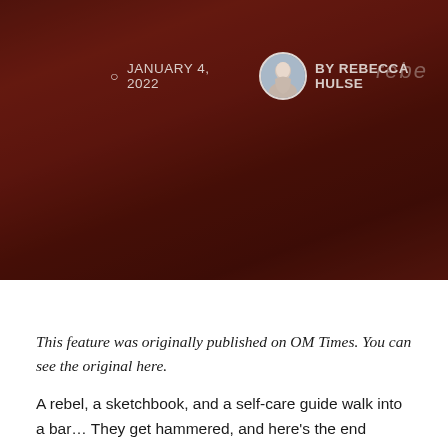[Figure (photo): Dark reddish-brown background hero image with handwritten text visible including 'rebe']
JANUARY 4, 2022   BY REBECCA HULSE
This feature was originally published on OM Times. You can see the original here.
A rebel, a sketchbook, and a self-care guide walk into a bar… They get hammered, and here's the end result! Rebellious Rituals isn't a plan; it's an exploration. This